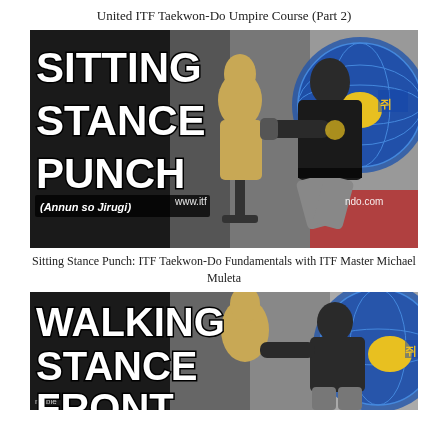United ITF Taekwon-Do Umpire Course (Part 2)
[Figure (photo): Taekwondo instructor in sitting stance punch position with dummy mannequin, National Taekwon-Do Federation logo in background. Text overlay reads: SITTING STANCE PUNCH (Annun so Jirugi) and www.itf...ndo.com]
Sitting Stance Punch: ITF Taekwon-Do Fundamentals with ITF Master Michael Muleta
[Figure (photo): Taekwondo instructor in walking stance front punch position with dummy mannequin. Text overlay reads: WALKING STANCE FRONT and website url partially visible. ntable text visible at bottom left.]